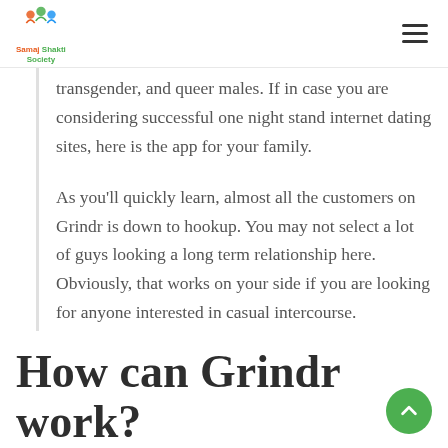Samaj Shakti Society
transgender, and queer males. If in case you are considering successful one night stand internet dating sites, here is the app for your family.
As you'll quickly learn, almost all the customers on Grindr is down to hookup. You may not select a lot of guys looking a long term relationship here. Obviously, that works on your side if you are looking for anyone interested in casual intercourse.
How can Grindr work?